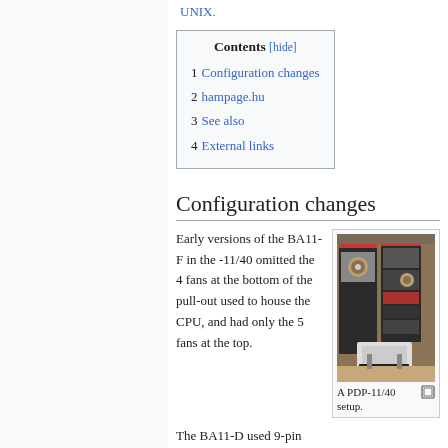UNIX.
| 1 | Configuration changes |
| 2 | hampage.hu |
| 3 | See also |
| 4 | External links |
Configuration changes
Early versions of the BA11-F in the -11/40 omitted the 4 fans at the bottom of the pull-out used to house the CPU, and had only the 5 fans at the top.
[Figure (photo): A PDP-11/40 computer setup in a room with brick walls, showing a large cabinet with disk drives and a terminal/keyboard.]
A PDP-11/40 setup.
The BA11-D used 9-pin DEC power